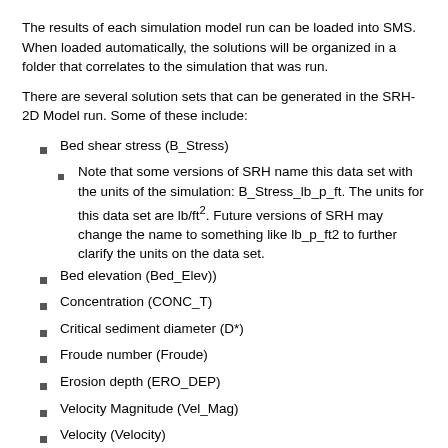The results of each simulation model run can be loaded into SMS. When loaded automatically, the solutions will be organized in a folder that correlates to the simulation that was run.
There are several solution sets that can be generated in the SRH-2D Model run. Some of these include:
Bed shear stress (B_Stress)
Note that some versions of SRH name this data set with the units of the simulation: B_Stress_lb_p_ft. The units for this data set are lb/ft2. Future versions of SRH may change the name to something like lb_p_ft2 to further clarify the units on the data set.
Bed elevation (Bed_Elev))
Concentration (CONC_T)
Critical sediment diameter (D*)
Froude number (Froude)
Erosion depth (ERO_DEP)
Velocity Magnitude (Vel_Mag)
Velocity (Velocity)
Water depth (Water_Depth)
Water elevation (Water_Elev)
Notes
For the volume under ERO_DEP_ft: the numbers are an area